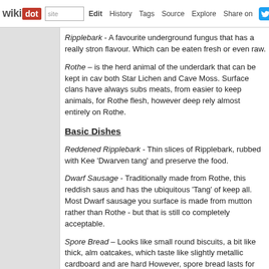wikidot | site | Edit | History | Tags | Source | Explore | Share on Twitter
Ripplebark - A favourite underground fungus that has a really strong flavour. Which can be eaten fresh or even raw.
Rothe – is the herd animal of the underdark that can be kept in caves, eating both Star Lichen and Cave Moss. Surface clans have always substituted other meats, from easier to keep animals, for Rothe flesh, however deep dwarves rely almost entirely on Rothe.
Basic Dishes
Reddened Ripplebark - Thin slices of Ripplebark, rubbed with Keep, add a 'Dwarven tang' and preserve the food.
Dwarf Sausage - Traditionally made from Rothe, this reddish sausage and has the ubiquitous 'Tang' of keep all. Most Dwarf sausage you find on the surface is made from mutton rather than Rothe - but that is still considered completely acceptable.
Spore Bread – Looks like small round biscuits, a bit like thick, almost oatcakes, which taste like slightly metallic cardboard and are hard. However, spore bread lasts for ages and is incredibly filling. (100% While it is 'Traditional' it is seen as a low status food item. It is eaten on special occasions and occasionally just nostalgically.
Dwarf Bread - ...